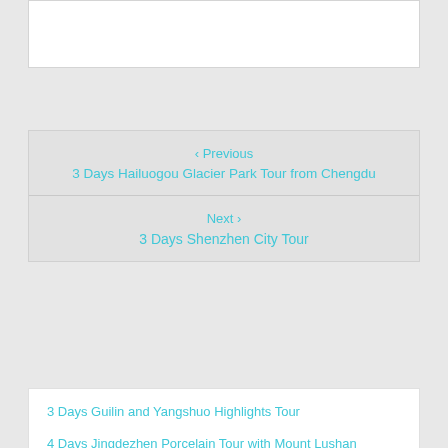[Figure (other): White rectangular box at top of page]
‹ Previous
3 Days Hailuogou Glacier Park Tour from Chengdu
Next ›
3 Days Shenzhen City Tour
3 Days Guilin and Yangshuo Highlights Tour
4 Days Jingdezhen Porcelain Tour with Mount Lushan
5 Days Kunming Phography Tour with Dongchuan Red Land and Jiaozi Snow Mountain